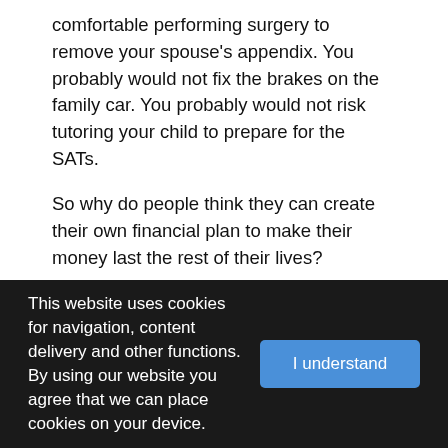comfortable performing surgery to remove your spouse's appendix. You probably would not fix the brakes on the family car. You probably would not risk tutoring your child to prepare for the SATs.
So why do people think they can create their own financial plan to make their money last the rest of their lives?
As an independent professional, it's troubling to see consumers sold on believing they can strategically plan their own tax-smart strategy for building wealth. Financial and tax planning are not so simple.
This website uses cookies for navigation, content delivery and other functions. By using our website you agree that we can place cookies on your device.  I understand